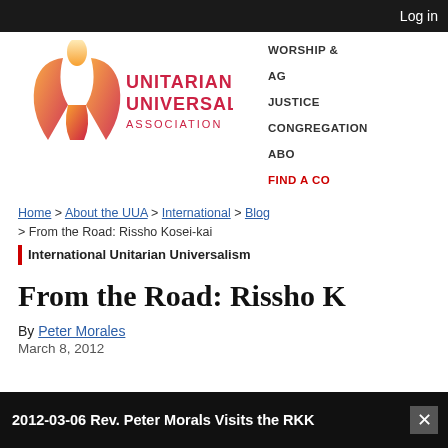Log in
[Figure (logo): Unitarian Universalist Association logo with chalice icon in red-orange gradient and text 'UNITARIAN UNIVERSALIST ASSOCIATION' in red]
WORSHIP &
AG
JUSTICE
CONGREGATION
ABO
FIND A CO
Home > About the UUA > International > Blog > From the Road: Rissho Kosei-kai
International Unitarian Universalism
From the Road: Rissho K
By Peter Morales
March 8, 2012
2012-03-06 Rev. Peter Morals Visits the RKK